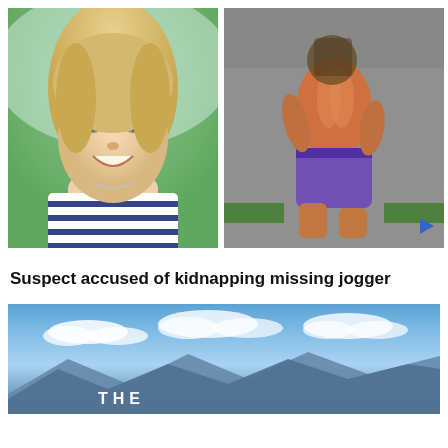[Figure (photo): Two side-by-side photos: left shows a smiling blonde woman in a striped shirt; right shows a shirtless man running away from camera wearing purple shorts, with a video play button overlay]
Suspect accused of kidnapping missing jogger
[Figure (photo): Landscape photo of blue sky with clouds over mountains, with the word THE visible at the bottom center]